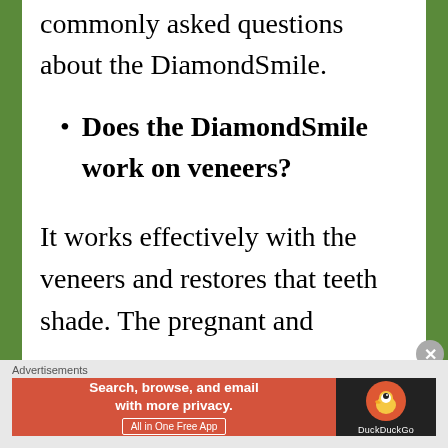commonly asked questions about the DiamondSmile.
Does the DiamondSmile work on veneers?
It works effectively with the veneers and restores that teeth shade. The pregnant and